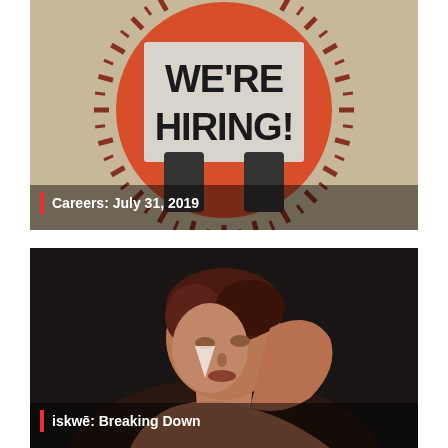[Figure (illustration): We're Hiring graphic: orange circle with radiating lines, a hand holding a sign reading WE'RE HIRING! on a beige background]
| Careers: July 31, 2019
[Figure (photo): Portrait photo of a woman with short reddish-brown hair looking over her shoulder against a dark background, with a painted triangle under her eye]
| iskwē: Breaking Down